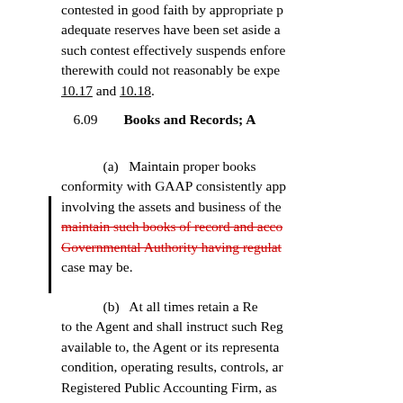contested in good faith by appropriate p adequate reserves have been set aside a such contest effectively suspends enfore therewith could not reasonably be expe 10.17 and 10.18.
6.09    Books and Records; A
(a)    Maintain proper books conformity with GAAP consistently app involving the assets and business of the maintain such books of record and acco Governmental Authority having regulat case may be.
(b)    At all times retain a Re to the Agent and shall instruct such Reg available to, the Agent or its representa condition, operating results, controls, ar Registered Public Accounting Firm, as